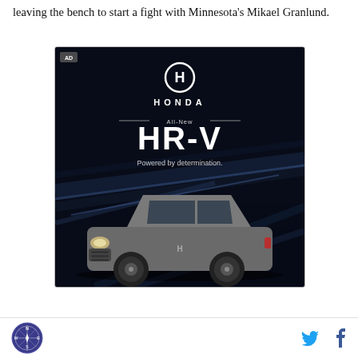leaving the bench to start a fight with Minnesota's Mikael Granlund.
[Figure (photo): Honda HR-V advertisement. Black background with light streaks and a gray Honda HR-V SUV. Text reads: HONDA, All-New, HR-V, Powered by determination.]
Social share icons (Twitter, Facebook) and website logo